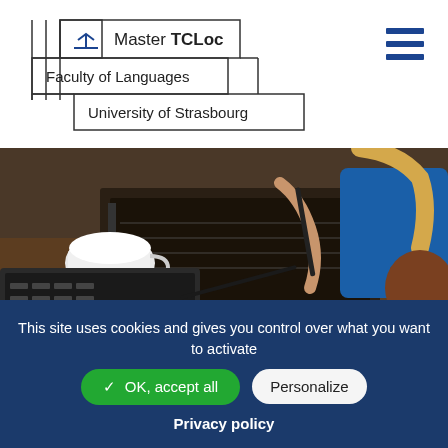[Figure (logo): Master TCLoc logo with Faculty of Languages, University of Strasbourg text and geometric grid lines]
[Figure (photo): Students studying together at a table with notebooks, pens, laptop, and coffee cups]
This site uses cookies and gives you control over what you want to activate
✓ OK, accept all
Personalize
Privacy policy